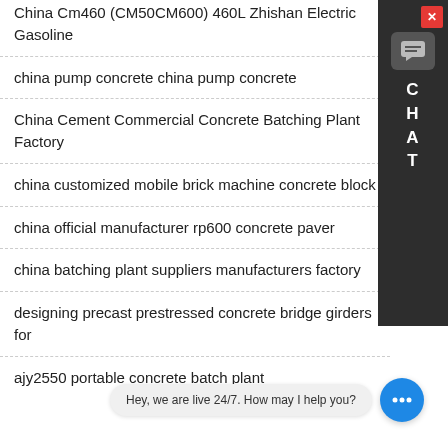China Cm460 (CM50CM600) 460L Zhishan Electric Gasoline
china pump concrete china pump concrete
China Cement Commercial Concrete Batching Plant Factory
china customized mobile brick machine concrete block
china official manufacturer rp600 concrete paver
china batching plant suppliers manufacturers factory
designing precast prestressed concrete bridge girders for
ajy2550 portable concrete batch plant
[Figure (other): Live chat widget with sidebar showing CHAT letters and a chat bubble at the bottom saying 'Hey, we are live 24/7. How may I help you?']